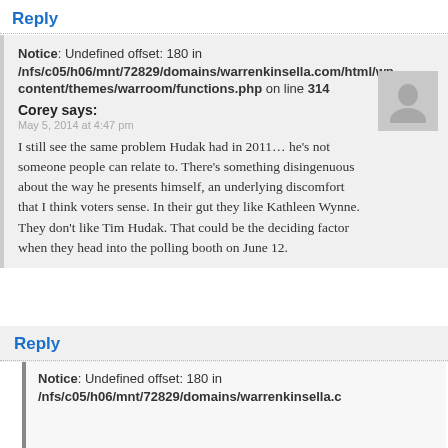Reply
Notice: Undefined offset: 180 in /nfs/c05/h06/mnt/72829/domains/warrenkinsella.com/html/wp-content/themes/warroom/functions.php on line 314
Corey says:
May 5, 2014 at 4:47 pm
I still see the same problem Hudak had in 2011… he's not someone people can relate to. There's something disingenuous about the way he presents himself, an underlying discomfort that I think voters sense. In their gut they like Kathleen Wynne. They don't like Tim Hudak. That could be the deciding factor when they head into the polling booth on June 12.
Reply
Notice: Undefined offset: 180 in /nfs/c05/h06/mnt/72829/domains/warrenkinsella.c